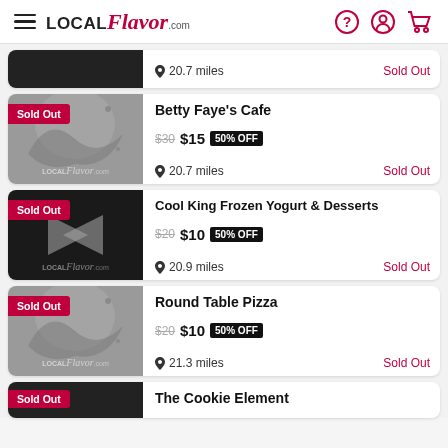LOCAL Flavor .com
20.7 miles | Sold Out
Betty Faye's Cafe | $30 $15 | 50% OFF | 20.7 miles | Sold Out
Cool King Frozen Yogurt & Desserts | $20 $10 | 50% OFF | 20.9 miles | Sold Out
Round Table Pizza | $20 $10 | 50% OFF | 21.3 miles | Sold Out
The Cookie Element | Sold Out